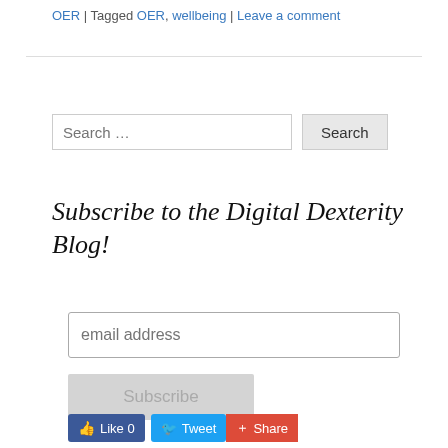OER | Tagged OER, wellbeing | Leave a comment
Search ...
Subscribe to the Digital Dexterity Blog!
email address
Subscribe
Like 0   Tweet   Share